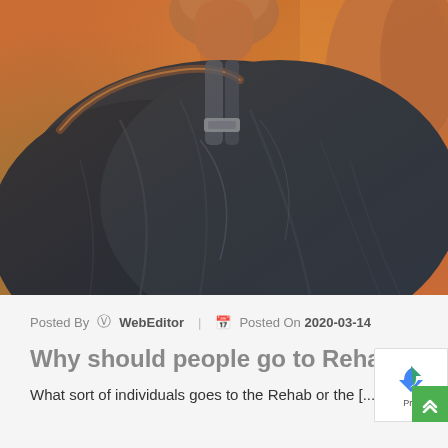[Figure (photo): Close-up photo of a person's back/shoulder wearing a dark navy blue fabric shirt, with a warm golden/orange bokeh background suggesting sunset outdoors]
Posted By WebEditor | Posted On 2020-03-14
Why should people go to Rehab?
What sort of individuals goes to the Rehab or the [...]